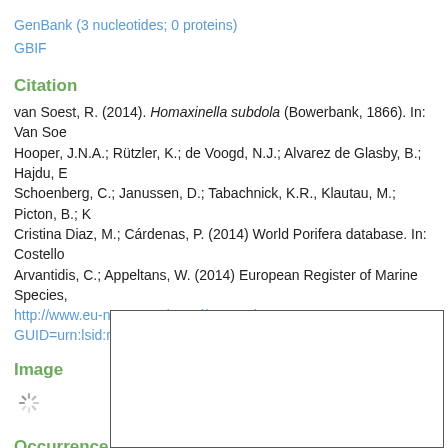GenBank (3 nucleotides; 0 proteins)
GBIF
Citation
van Soest, R. (2014). Homaxinella subdola (Bowerbank, 1866). In: Van Soe... Hooper, J.N.A.; Rützler, K.; de Voogd, N.J.; Alvarez de Glasby, B.; Hajdu, E... Schoenberg, C.; Janussen, D.; Tabachnick, K.R., Klautau, M.; Picton, B.; K... Cristina Diaz, M.; Cárdenas, P. (2014) World Porifera database. In: Costello... Arvantidis, C.; Appeltans, W. (2014) European Register of Marine Species, http://www.eu-nomen.eu/portal/taxon.php?GUID=urn:lsid:marinespecies.org
Image
[Figure (other): Loading spinner icon indicating image is loading]
Occurrence
[Figure (map): Interactive map with zoom controls (+ and - buttons) showing occurrence data. Map area is blank/white.]